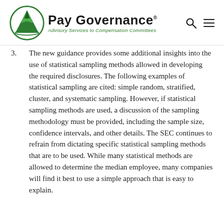Pay Governance — Advisory Services to Compensation Committees
3. The new guidance provides some additional insights into the use of statistical sampling methods allowed in developing the required disclosures. The following examples of statistical sampling are cited: simple random, stratified, cluster, and systematic sampling. However, if statistical sampling methods are used, a discussion of the sampling methodology must be provided, including the sample size, confidence intervals, and other details. The SEC continues to refrain from dictating specific statistical sampling methods that are to be used. While many statistical methods are allowed to determine the median employee, many companies will find it best to use a simple approach that is easy to explain.